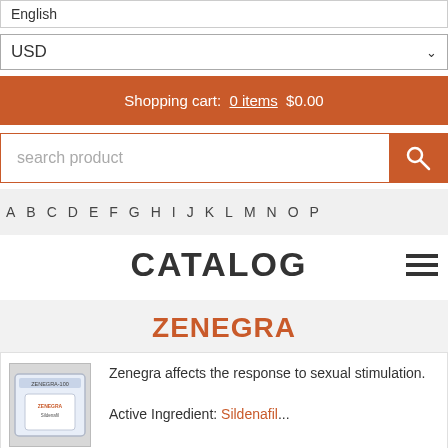English
USD
Shopping cart:  0 items  $0.00
search product
A  B  C  D  E  F  G  H  I  J  K  L  M  N  O  P
CATALOG
ZENEGRA
Zenegra affects the response to sexual stimulation.
Active Ingredient: Sildenafil...